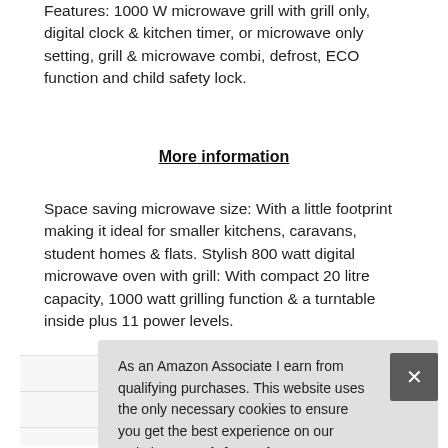Features: 1000 W microwave grill with grill only, digital clock & kitchen timer, or microwave only setting, grill & microwave combi, defrost, ECO function and child safety lock.
More information
Space saving microwave size: With a little footprint making it ideal for smaller kitchens, caravans, student homes & flats. Stylish 800 watt digital microwave oven with grill: With compact 20 litre capacity, 1000 watt grilling function & a turntable inside plus 11 power levels.
|  |  |
| --- | --- |
| Brand | SHARP |
| Ma |  |
|  |  |
| Weight | 11.5 kg (25.35 Pounds) |
As an Amazon Associate I earn from qualifying purchases. This website uses the only necessary cookies to ensure you get the best experience on our website. More information